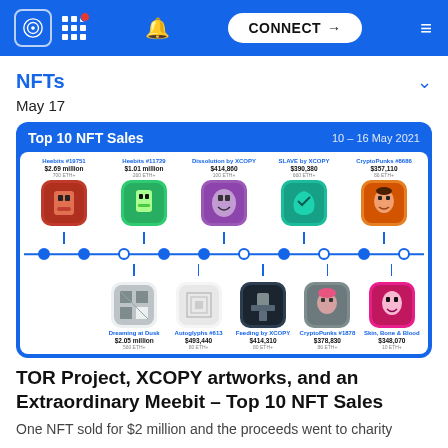CONNECT
NFTs
May 17
[Figure (infographic): Top 10 NFT Sales infographic for 10-16 May 2021. Timeline showing: Top row: Heebits #19751 $2.69 million 700 ETH+, Heebits #11729 $1.01 million 260 ETH+, Dissolution by XCOPY $414,860 100 ETH+, SLAVE by XCOPY $390,380 660 ETH+, CryptoPunks #8686 $357,110 86 ETH+. Bottom row: Dreaming at Dusk $2.05 million 560 ETH+, Autoglyphs #613 $493,440 80 ETH+, Feeding by XCOPY $414,310 80 ETH+, CryptoPunks #1878 $378,830 86 ETH+, Skin, Bone & Blood $348,070 10 ETH+]
TOR Project, XCOPY artworks, and an Extraordinary Meebit – Top 10 NFT Sales
One NFT sold for $2 million and the proceeds went to charity